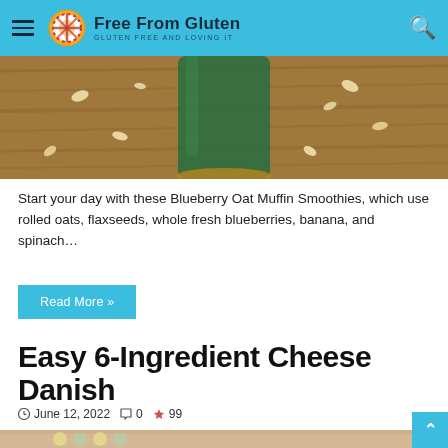Free From Gluten — GLUTEN FREE AND LOVING IT
[Figure (photo): Partial view of a green smoothie in a glass on a wooden surface with oats scattered around]
Start your day with these Blueberry Oat Muffin Smoothies, which use rolled oats, flaxseeds, whole fresh blueberries, banana, and spinach...
Read More »
Easy 6-Ingredient Cheese Danish
June 12, 2022  0  99
[Figure (photo): Partial view of a cheese danish or pastry item with honeycomb pattern decoration]